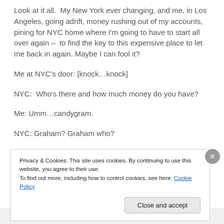Look at it all.  My New York ever changing, and me, in Los Angeles, going adrift, money rushing out of my accounts, pining for NYC home where I'm going to have to start all over again –  to find the key to this expensive place to let me back in again. Maybe I can fool it?
Me at NYC's door: [knock…knock]
NYC:  Who's there and how much money do you have?
Me: Umm…candygram.
NYC: Graham? Graham who?
Privacy & Cookies: This site uses cookies. By continuing to use this website, you agree to their use.
To find out more, including how to control cookies, see here: Cookie Policy